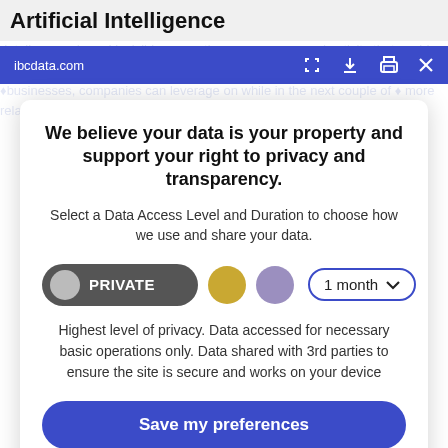Artificial Intelligence
ibcdata.com
We believe your data is your property and support your right to privacy and transparency.
Select a Data Access Level and Duration to choose how we use and share your data.
PRIVATE | 1 month
Highest level of privacy. Data accessed for necessary basic operations only. Data shared with 3rd parties to ensure the site is secure and works on your device
Save my preferences
Customize
Privacy policy